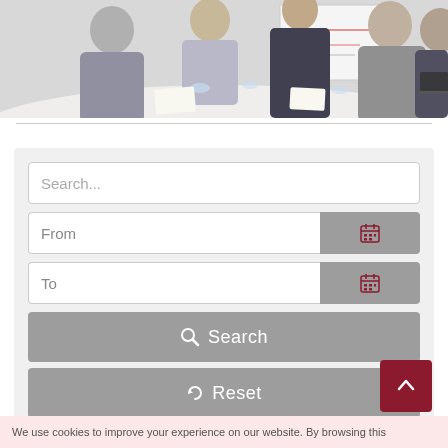[Figure (photo): Business meeting photo showing professionals seated around a conference table with a whiteboard in the background]
[Figure (screenshot): Search interface with text search box, From/To date pickers with calendar icons, Search button, and Reset button]
We use cookies to improve your experience on our website. By browsing this